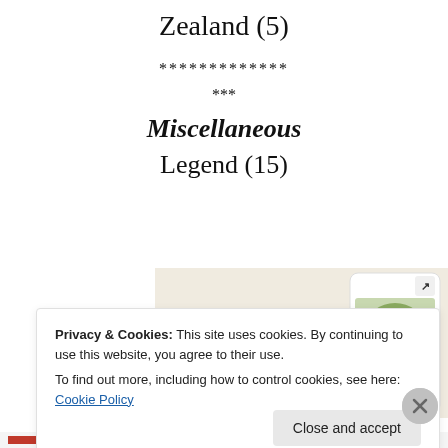Zealand (5)
*************
***
Miscellaneous
Legend (15)
[Figure (screenshot): Website screenshot showing a green 'Explore options' button on a beige background with food images and a phone mockup showing a recipe app]
Privacy & Cookies: This site uses cookies. By continuing to use this website, you agree to their use.
To find out more, including how to control cookies, see here: Cookie Policy